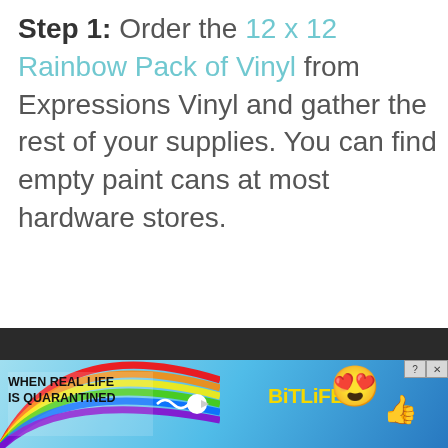Step 1: Order the 12 x 12 Rainbow Pack of Vinyl from Expressions Vinyl and gather the rest of your supplies. You can find empty paint cans at most hardware stores.
[Figure (screenshot): Dark bar and advertisement banner at the bottom of the page. The ad shows a rainbow and blue background on the left, text 'WHEN REAL LIFE IS QUARANTINED' in bold black, a squiggle arrow, 'BitLife' in yellow bold text, a star-eyes emoji with mask, and a thumbs-up emoji. A close button with ? and X icons appears in the upper right.]